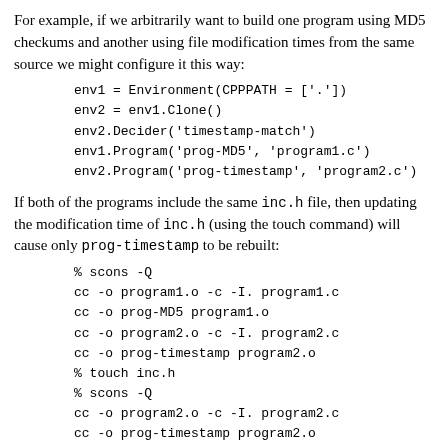For example, if we arbitrarily want to build one program using MD5 checkums and another using file modification times from the same source we might configure it this way:
If both of the programs include the same inc.h file, then updating the modification time of inc.h (using the touch command) will cause only prog-timestamp to be rebuilt:
Prev | Home | Next
GetBuildPath; | | Older Functions for